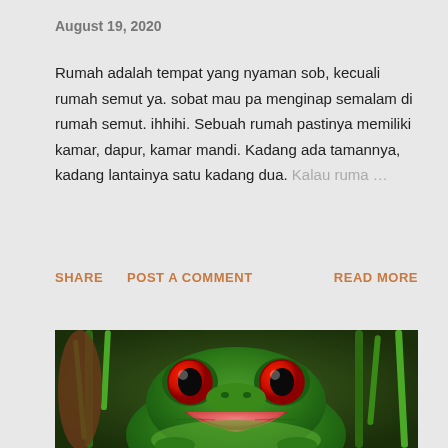August 19, 2020
Rumah adalah tempat yang nyaman sob, kecuali rumah semut ya. sobat mau pa menginap semalam di rumah semut. ihhihi. Sebuah rumah pastinya memiliki kamar, dapur, kamar mandi. Kadang ada tamannya, kadang lantainya satu kadang dua. Kalau ruma… ...
SHARE   POST A COMMENT   READ MORE
[Figure (photo): Close-up photo of a red-eyed tree frog facing the camera with its mouth open, appearing to smile. The frog has green skin, large red eyes with black pupils, and a pink mouth. Green plant stems visible in background.]